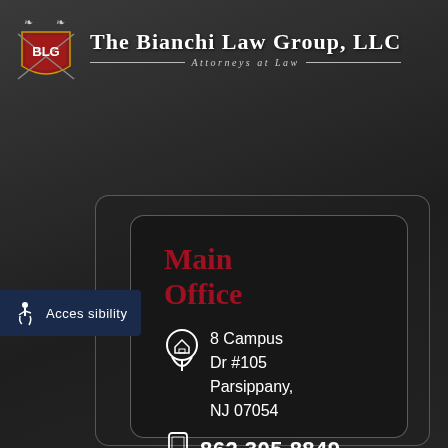[Figure (logo): The Bianchi Law Group LLC shield logo with BLG letters and crossed swords]
The Bianchi Law Group, LLC — Attorneys at Law
Main Office
8 Campus Dr #105 Parsippany, NJ 07054
862.305.8849
blg@bianchilawgroup.com
Accessibility